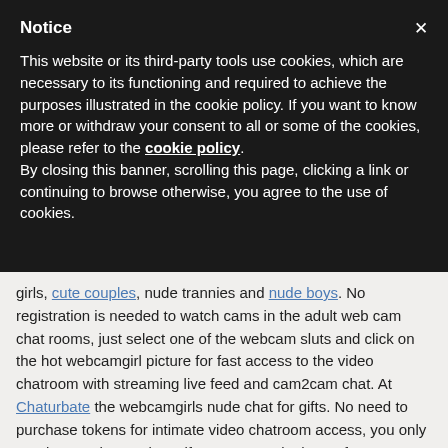Notice
This website or its third-party tools use cookies, which are necessary to its functioning and required to achieve the purposes illustrated in the cookie policy. If you want to know more or withdraw your consent to all or some of the cookies, please refer to the cookie policy. By closing this banner, scrolling this page, clicking a link or continuing to browse otherwise, you agree to the use of cookies.
girls, cute couples, nude trannies and nude boys. No registration is needed to watch cams in the adult web cam chat rooms, just select one of the webcam sluts and click on the hot webcamgirl picture for fast access to the video chatroom with streaming live feed and cam2cam chat. At Chaturbate the webcamgirls nude chat for gifts. No need to purchase tokens for intimate video chatroom access, you only need to purchase tokens if you want to tip the performers. Register for free and you can watch exclusive sexy webcams and get access to options like live messenger. All performers have their own